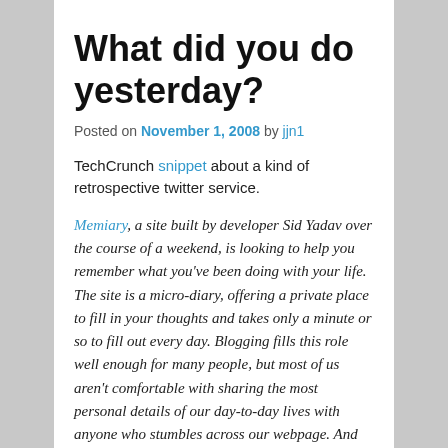What did you do yesterday?
Posted on November 1, 2008 by jjn1
TechCrunch snippet about a kind of retrospective twitter service.
Memiary, a site built by developer Sid Yadav over the course of a weekend, is looking to help you remember what you've been doing with your life. The site is a micro-diary, offering a private place to fill in your thoughts and takes only a minute or so to fill out every day. Blogging fills this role well enough for many people, but most of us aren't comfortable with sharing the most personal details of our day-to-day lives with anyone who stumbles across our webpage. And most of us simply don't have time to fill out longform diary entries, so the short text snippets work well.